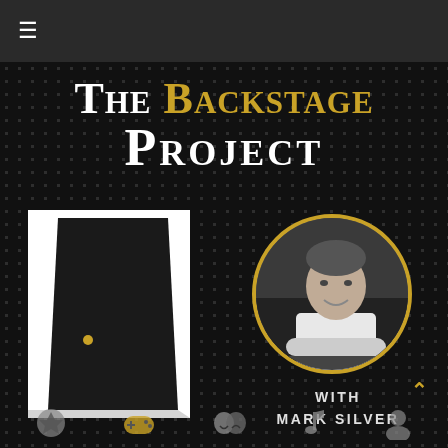≡
[Figure (logo): The Backstage Project podcast logo with title text, an open door illustration on the left, and a circular portrait photo of Mark Silver on the right with gold border, on a dark dotted background]
The Backstage Project
WITH MARK SILVER